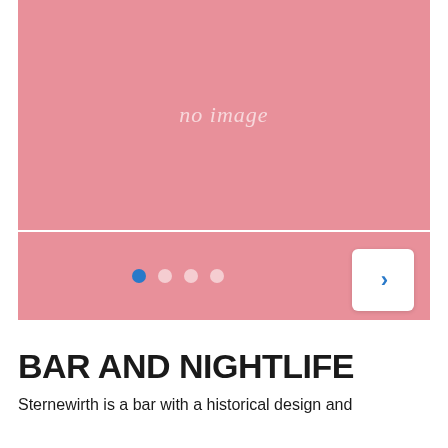[Figure (photo): Pink placeholder image area with 'no image' text in italic, serving as a carousel image slot]
[Figure (screenshot): Pagination dots (4 dots, first one active/blue) and a white next arrow button on a pink background, part of an image carousel UI]
BAR AND NIGHTLIFE
Sternewirth is a bar with a historical design and